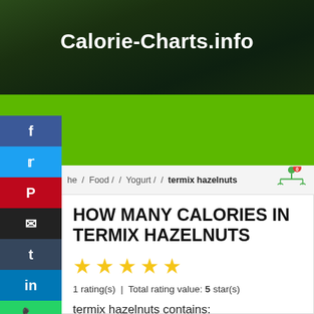Calorie-Charts.info
he / Food / / Yogurt / / termix hazelnuts
HOW MANY CALORIES IN TERMIX HAZELNUTS
1 rating(s) | Total rating value: 5 star(s)
termix hazelnuts contains: